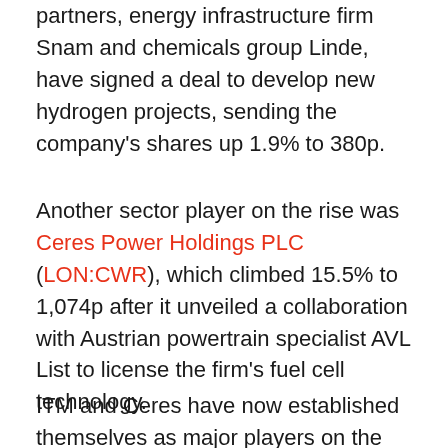partners, energy infrastructure firm Snam and chemicals group Linde, have signed a deal to develop new hydrogen projects, sending the company's shares up 1.9% to 380p.
Another sector player on the rise was Ceres Power Holdings PLC (LON:CWR), which climbed 15.5% to 1,074p after it unveiled a collaboration with Austrian powertrain specialist AVL List to license the firm's fuel cell technology.
ITM and Ceres have now established themselves as major players on the small-cap market, with ITM AIM's